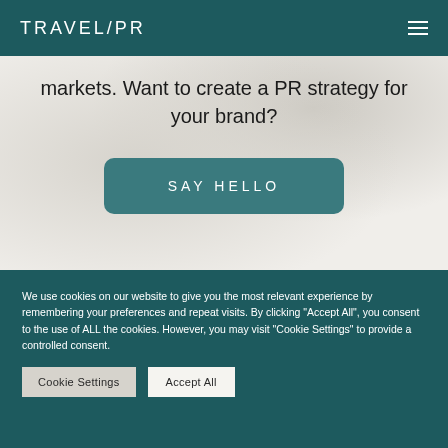TRAVEL/PR
markets. Want to create a PR strategy for your brand?
SAY HELLO
We use cookies on our website to give you the most relevant experience by remembering your preferences and repeat visits. By clicking “Accept All”, you consent to the use of ALL the cookies. However, you may visit “Cookie Settings” to provide a controlled consent.
Cookie Settings
Accept All